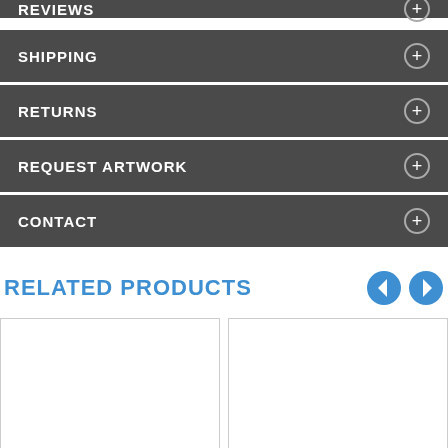REVIEWS
SHIPPING
RETURNS
REQUEST ARTWORK
CONTACT
RELATED PRODUCTS
[Figure (other): Two empty product image placeholder boxes side by side under Related Products section]